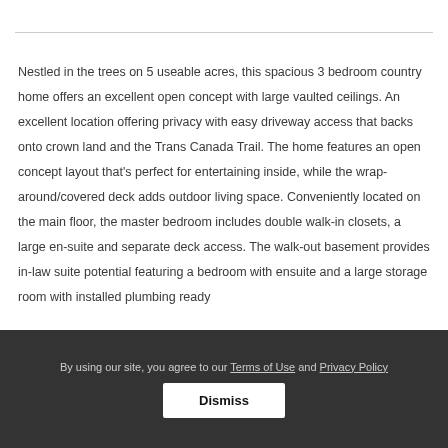Nestled in the trees on 5 useable acres, this spacious 3 bedroom country home offers an excellent open concept with large vaulted ceilings. An excellent location offering privacy with easy driveway access that backs onto crown land and the Trans Canada Trail. The home features an open concept layout that's perfect for entertaining inside, while the wrap-around/covered deck adds outdoor living space. Conveniently located on the main floor, the master bedroom includes double walk-in closets, a large en-suite and separate deck access. The walk-out basement provides in-law suite potential featuring a bedroom with ensuite and a large storage room with installed plumbing ready
By using our site, you agree to our Terms of Use and Privacy Policy Dismiss